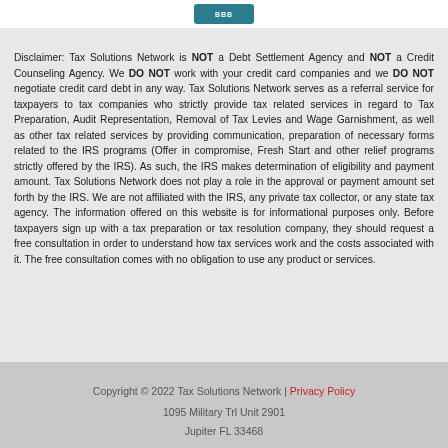[Figure (logo): BBB logo — teal/dark-teal rectangular badge with white 'BBB' lettering]
Disclaimer: Tax Solutions Network is NOT a Debt Settlement Agency and NOT a Credit Counseling Agency. We DO NOT work with your credit card companies and we DO NOT negotiate credit card debt in any way. Tax Solutions Network serves as a referral service for taxpayers to tax companies who strictly provide tax related services in regard to Tax Preparation, Audit Representation, Removal of Tax Levies and Wage Garnishment, as well as other tax related services by providing communication, preparation of necessary forms related to the IRS programs (Offer in compromise, Fresh Start and other relief programs strictly offered by the IRS). As such, the IRS makes determination of eligibility and payment amount. Tax Solutions Network does not play a role in the approval or payment amount set forth by the IRS. We are not affiliated with the IRS, any private tax collector, or any state tax agency. The information offered on this website is for informational purposes only. Before taxpayers sign up with a tax preparation or tax resolution company, they should request a free consultation in order to understand how tax services work and the costs associated with it. The free consultation comes with no obligation to use any product or services.
Copyright © 2022 Tax Solutions Network | Privacy Policy
1095 Military Trl Unit 2901
Jupiter FL 33468